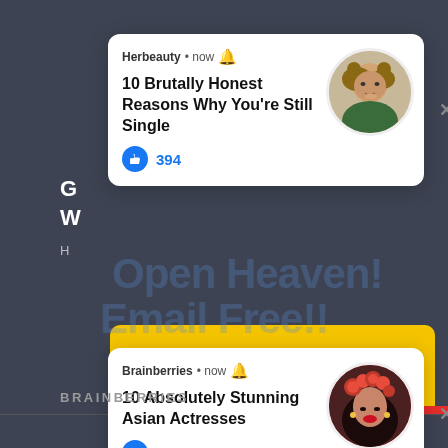[Figure (screenshot): Background of a dark gray website with partial text visible]
[Figure (screenshot): Notification card 1 from Herbeauty: '10 Brutally Honest Reasons Why You're Still Single' with 394 likes and a circular profile photo of a woman]
[Figure (screenshot): Notification card 2 from Brainberries: '10 Absolutely Stunning Asian Actresses' with 343 likes and a circular profile photo of a woman with red roses]
Open Heaven!
Email Free!!
Email Address
Sign Me Up
7
O
BRAINBERRIES